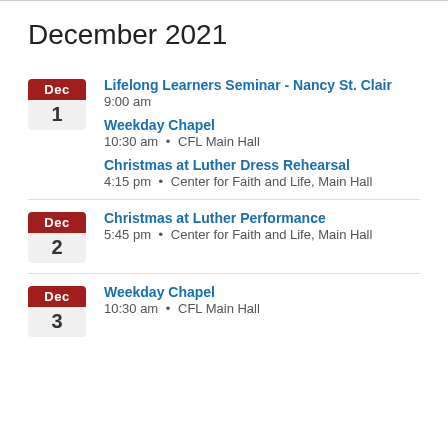December 2021
Dec 1 – Lifelong Learners Seminar - Nancy St. Clair, 9:00 am
Dec 1 – Weekday Chapel, 10:30 am • CFL Main Hall
Dec 1 – Christmas at Luther Dress Rehearsal, 4:15 pm • Center for Faith and Life, Main Hall
Dec 2 – Christmas at Luther Performance, 5:45 pm • Center for Faith and Life, Main Hall
Dec 3 – Weekday Chapel, 10:30 am • CFL Main Hall